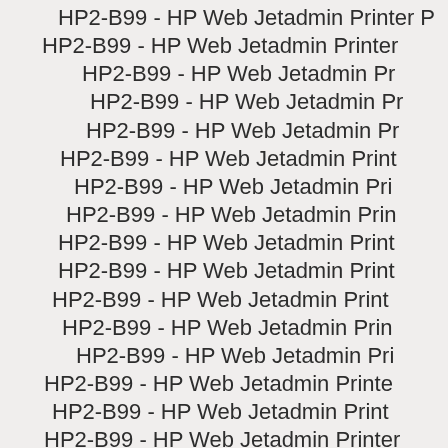HP2-B99 - HP Web Jetadmin Printer (repeated lines)